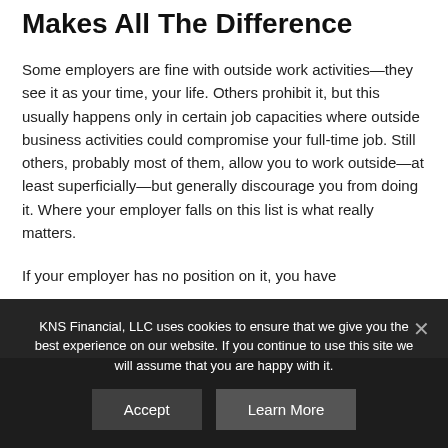Makes All The Difference
Some employers are fine with outside work activities—they see it as your time, your life. Others prohibit it, but this usually happens only in certain job capacities where outside business activities could compromise your full-time job. Still others, probably most of them, allow you to work outside—at least superficially—but generally discourage you from doing it. Where your employer falls on this list is what really matters.
If your employer has no position on it, you have
KNS Financial, LLC uses cookies to ensure that we give you the best experience on our website. If you continue to use this site we will assume that you are happy with it.
Accept
Learn More